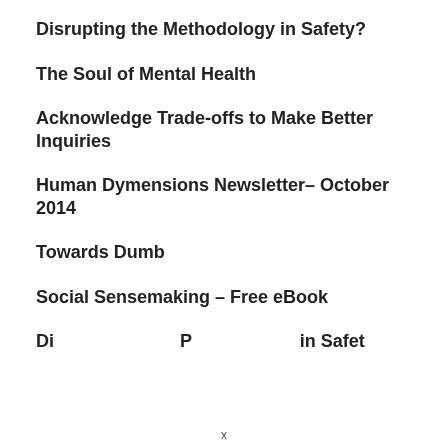Disrupting the Methodology in Safety?
The Soul of Mental Health
Acknowledge Trade-offs to Make Better Inquiries
Human Dymensions Newsletter– October 2014
Towards Dumb
Social Sensemaking – Free eBook
Disrupting Perception in Safety...